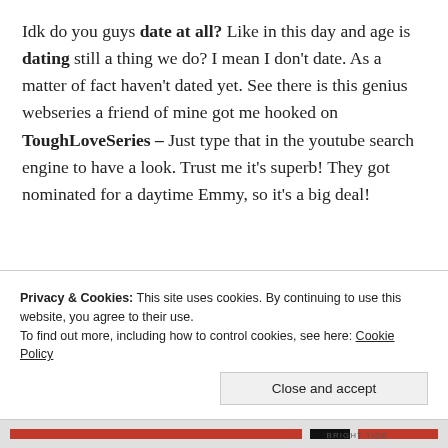Idk do you guys date at all? Like in this day and age is dating still a thing we do? I mean I don't date. As a matter of fact haven't dated yet. See there is this genius webseries a friend of mine got me hooked on ToughLoveSeries – Just type that in the youtube search engine to have a look. Trust me it's superb! They got nominated for a daytime Emmy, so it's a big deal!
Privacy & Cookies: This site uses cookies. By continuing to use this website, you agree to their use.
To find out more, including how to control cookies, see here: Cookie Policy
Close and accept